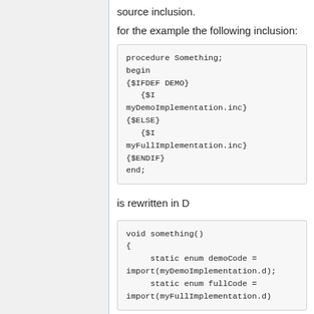source inclusion.
for the example the following inclusion:
procedure Something;
begin
{$IFDEF DEMO}
  {$I myDemoImplementation.inc}
{$ELSE}
  {$I myFullImplementation.inc}
{$ENDIF}
end;
is rewritten in D
void something()
{
    static enum demoCode =
import(myDemoImplementation.d);
    static enum fullCode =
import(myFullImplementation.d)